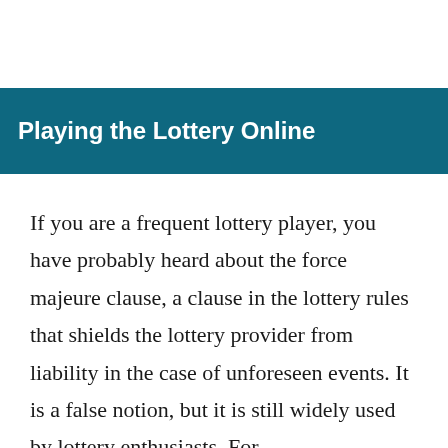Playing the Lottery Online
If you are a frequent lottery player, you have probably heard about the force majeure clause, a clause in the lottery rules that shields the lottery provider from liability in the case of unforeseen events. It is a false notion, but it is still widely used by lottery enthusiasts. For